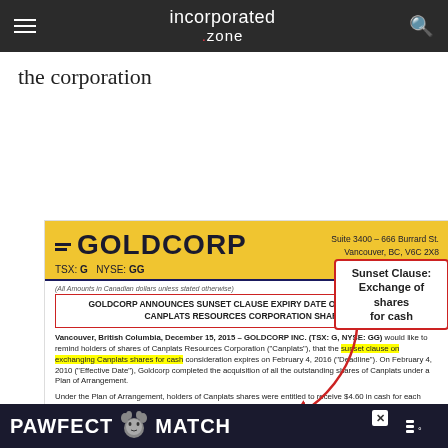incorporated.zone
the corporation
[Figure (screenshot): Screenshot of a Goldcorp press release announcing a sunset clause expiry date on outstanding Canplats Resources Corporation shares, dated December 15, 2015. The page shows the Goldcorp corporate header with logo, address (Suite 3400 – 666 Burrard St., Vancouver, BC, V6C 2X8), ticker symbols (TSX: G, NYSE: GG), a red-bordered headline box, and body text. A callout box labelled 'Sunset Clause: Exchange of shares for cash' with a red arrow points to the highlighted phrase 'sunset clause on exchanging Canplats shares for cash'.]
PAWFECT MATCH (advertisement)